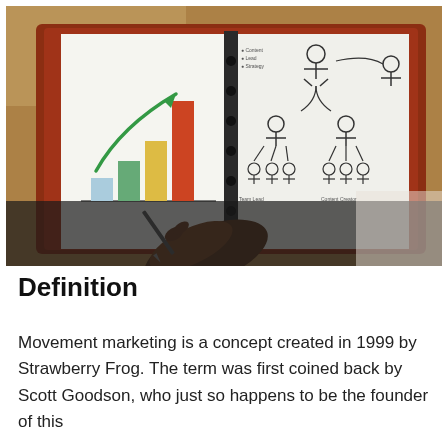[Figure (photo): A person's hand holding a pen over an open ring-bound notebook/planner. The left page shows a hand-drawn bar chart with four colored bars (blue, green, yellow, red) increasing in height with a green upward arrow. The right page shows a hand-drawn organizational chart with stick figures connected by arrows. The notebook rests on a leather binder on a dark surface.]
Definition
Movement marketing is a concept created in 1999 by Strawberry Frog. The term was first coined back by Scott Goodson, who just so happens to be the founder of this